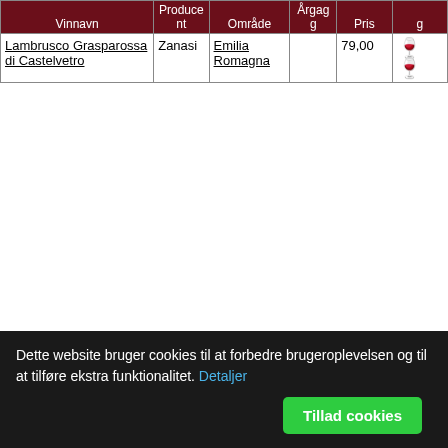| Vinnavn | Producent | Område | Årgang | Pris |  |
| --- | --- | --- | --- | --- | --- |
| Lambrusco Grasparossa di Castelvetro | Zanasi | Emilia Romagna |  | 79,00 | 🍷🍷 |
Dette website bruger cookies til at forbedre brugeroplevelsen og til at tilføre ekstra funktionalitet. Detaljer